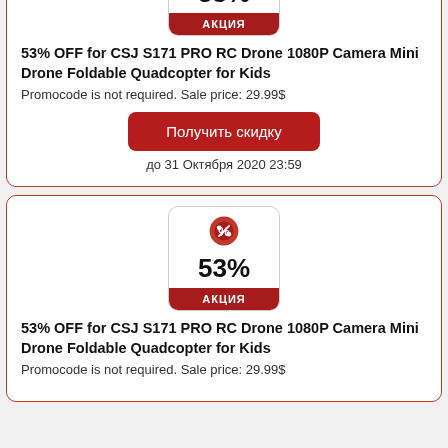[Figure (infographic): Discount badge showing 53% with red АКЦИЯ label]
53% OFF for CSJ S171 PRO RC Drone 1080P Camera Mini Drone Foldable Quadcopter for Kids
Promocode is not required. Sale price: 29.99$
Получить скидку
до 31 Октября 2020 23:59
[Figure (infographic): Discount badge showing 53% with red АКЦИЯ label]
53% OFF for CSJ S171 PRO RC Drone 1080P Camera Mini Drone Foldable Quadcopter for Kids
Promocode is not required. Sale price: 29.99$